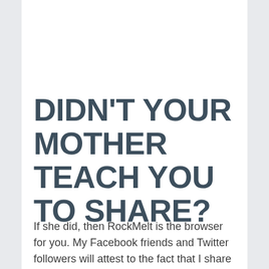DIDN'T YOUR MOTHER TEACH YOU TO SHARE?
If she did, then RockMelt is the browser for you. My Facebook friends and Twitter followers will attest to the fact that I share a lot of content throughout a day as I come across great articles, comics, and other media. I really like how simple RockMelt makes it to share items from the site that you are on as well as